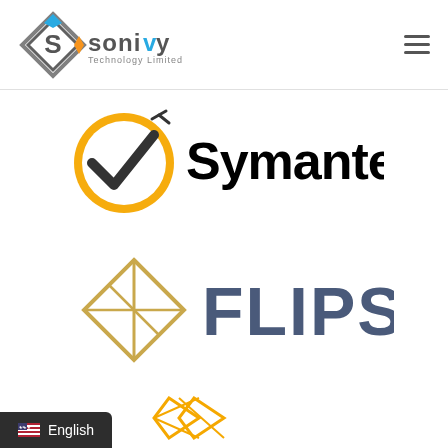[Figure (logo): Sonivy Technology Limited logo — diamond shaped S icon in grey with blue accent and orange accent, and 'sonivy' text in grey with 'Technology Limited' subtitle]
[Figure (logo): Hamburger menu icon (three horizontal lines)]
[Figure (logo): Symantec logo — yellow circle with black checkmark and 'Symantec' bold text]
[Figure (logo): FLIPS logo — gold geometric diamond/rhombus outline icon and 'FLIPS' bold text in dark blue-grey]
[Figure (logo): Partial logo at bottom with orange/gold geometric shapes]
English